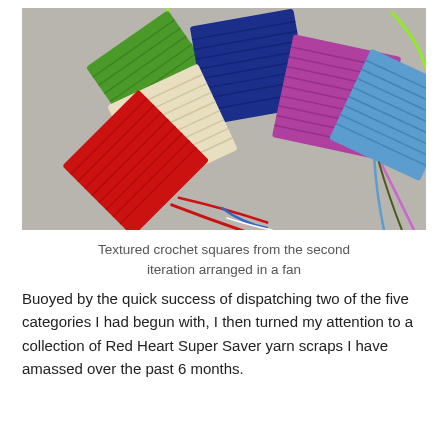[Figure (photo): Colorful textured crochet squares arranged in a fan shape on a gray surface. Colors include green, dark navy blue, cream/beige, red, blue, purple/magenta, with yarn tails visible.]
Textured crochet squares from the second iteration arranged in a fan
Buoyed by the quick success of dispatching two of the five categories I had begun with, I then turned my attention to a collection of Red Heart Super Saver yarn scraps I have amassed over the past 6 months.